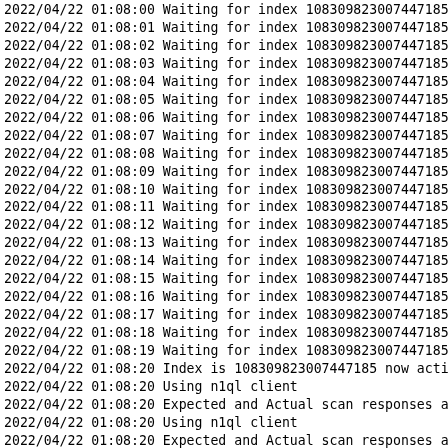2022/04/22 01:08:00 Waiting for index 108309823007447185
2022/04/22 01:08:01 Waiting for index 108309823007447185
2022/04/22 01:08:02 Waiting for index 108309823007447185
2022/04/22 01:08:03 Waiting for index 108309823007447185
2022/04/22 01:08:04 Waiting for index 108309823007447185
2022/04/22 01:08:05 Waiting for index 108309823007447185
2022/04/22 01:08:06 Waiting for index 108309823007447185
2022/04/22 01:08:07 Waiting for index 108309823007447185
2022/04/22 01:08:08 Waiting for index 108309823007447185
2022/04/22 01:08:09 Waiting for index 108309823007447185
2022/04/22 01:08:10 Waiting for index 108309823007447185
2022/04/22 01:08:11 Waiting for index 108309823007447185
2022/04/22 01:08:12 Waiting for index 108309823007447185
2022/04/22 01:08:13 Waiting for index 108309823007447185
2022/04/22 01:08:14 Waiting for index 108309823007447185
2022/04/22 01:08:15 Waiting for index 108309823007447185
2022/04/22 01:08:16 Waiting for index 108309823007447185
2022/04/22 01:08:17 Waiting for index 108309823007447185
2022/04/22 01:08:18 Waiting for index 108309823007447185
2022/04/22 01:08:19 Waiting for index 108309823007447185
2022/04/22 01:08:20 Index is 108309823007447185 now acti
2022/04/22 01:08:20 Using n1ql client
2022/04/22 01:08:20 Expected and Actual scan responses ar
2022/04/22 01:08:20 Using n1ql client
2022/04/22 01:08:20 Expected and Actual scan responses ar
2022/04/22 01:08:21 Using n1ql client
2022-04-22T01:08:21.034+05:30 [Info] GsiClient::UpdateUse
2022-04-22T01:08:21.037+05:30 [Info] GSIC[default/deferte
2022/04/22 01:08:21 Expected and Actual scan responses ar
2022/04/22 01:08:24 Modified parameters of bucket default